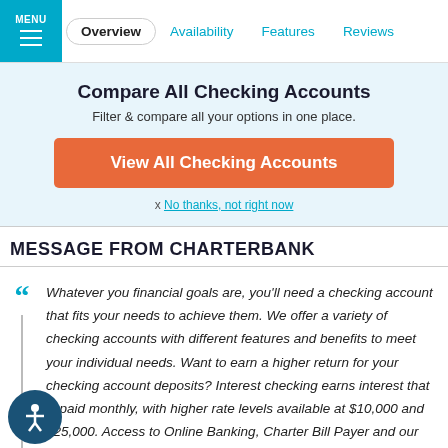MENU | Overview | Availability | Features | Reviews
Compare All Checking Accounts
Filter & compare all your options in one place.
View All Checking Accounts
x No thanks, not right now
MESSAGE FROM CHARTERBANK
Whatever you financial goals are, you'll need a checking account that fits your needs to achieve them. We offer a variety of checking accounts with different features and benefits to meet your individual needs. Want to earn a higher return for your checking account deposits? Interest checking earns interest that is paid monthly, with higher rate levels available at $10,000 and $25,000. Access to Online Banking, Charter Bill Payer and our Mobile App. No ATM Surcharges at MoneyPass ATMs, Free Monthly Statements or E-